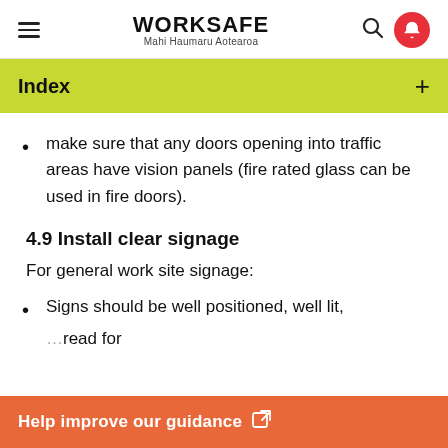WORKSAFE Mahi Haumaru Aotearoa
Index
make sure that any doors opening into traffic areas have vision panels (fire rated glass can be used in fire doors).
4.9 Install clear signage
For general work site signage:
Signs should be well positioned, well lit, …read for
Help improve our guidance